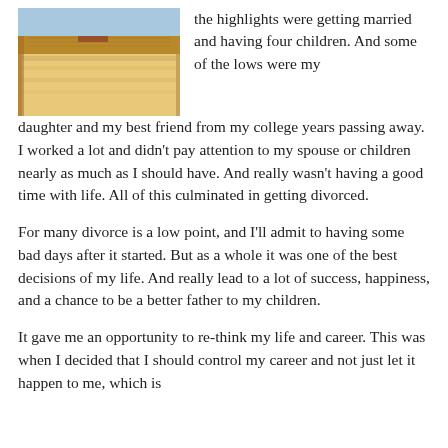[Figure (photo): Close-up photo of what appears to be a layered cake or baked good with golden-brown top and light interior, photographed against a light blue background.]
the highlights were getting married and having four children.  And some of the lows were my daughter and my best friend from my college years passing away.  I worked a lot and didn't pay attention to my spouse or children nearly as much as I should have.  And really wasn't having a good time with life.  All of this culminated in getting divorced.
For many divorce is a low point, and I'll admit to having some bad days after it started.  But as a whole it was one of the best decisions of my life.  And really lead to a lot of success, happiness, and a chance to be a better father to my children.
It gave me an opportunity to re-think my life and career.  This was when I decided that I should control my career and not just let it happen to me, which is